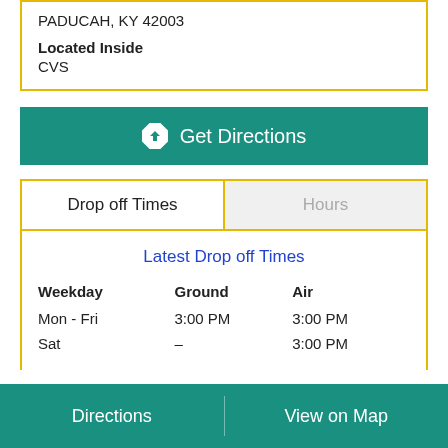PADUCAH, KY 42003
Located Inside
CVS
Get Directions
Drop off Times
Hours
Latest Drop off Times
| Weekday | Ground | Air |
| --- | --- | --- |
| Mon - Fri | 3:00 PM | 3:00 PM |
| Sat | – | 3:00 PM |
Directions
View on Map